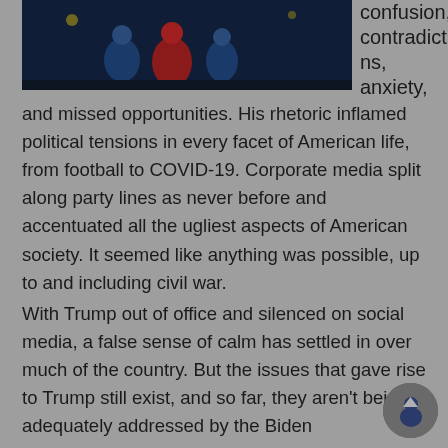[Figure (photo): Dark nighttime photo of figures in blue and red clothing/jackets]
confusion, contradictions, anxiety,
and missed opportunities. His rhetoric inflamed political tensions in every facet of American life, from football to COVID-19. Corporate media split along party lines as never before and accentuated all the ugliest aspects of American society. It seemed like anything was possible, up to and including civil war.
With Trump out of office and silenced on social media, a false sense of calm has settled in over much of the country. But the issues that gave rise to Trump still exist, and so far, they aren't being adequately addressed by the Biden administration. Meanwhile, the Trump wing continues its domination of the Republican Party. The country is still deep in the woods.